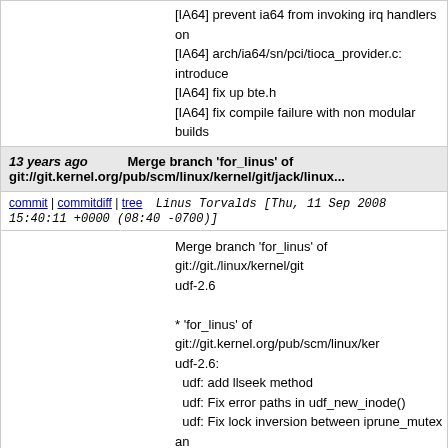[IA64] prevent ia64 from invoking irq handlers on
[IA64] arch/ia64/sn/pci/tioca_provider.c: introduce
[IA64] fix up bte.h
[IA64] fix compile failure with non modular builds
13 years ago   Merge branch 'for_linus' of git://git.kernel.org/pub/scm/linux/kernel/git/jack/linux...
commit | commitdiff | tree   Linus Torvalds [Thu, 11 Sep 2008 15:40:11 +0000 (08:40 -0700)]
Merge branch 'for_linus' of git://git./linux/kernel/git udf-2.6

* 'for_linus' of git://git.kernel.org/pub/scm/linux/ker udf-2.6:
  udf: add llseek method
  udf: Fix error paths in udf_new_inode()
  udf: Fix lock inversion between iprune_mutex an
13 years ago   block: disable sysfs parts of the disk command filter
commit | commitdiff | tree   Jens Axboe [Thu, 11 Sep 2008 12:20:23 +0000 (14:20 +0200)]
block: disable sysfs parts of the disk command filt
We still have life time issues with the sysfs comma